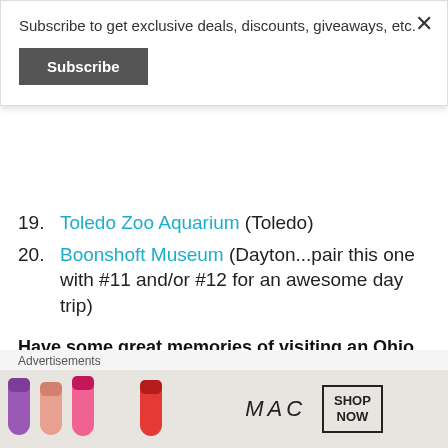Subscribe to get exclusive deals, discounts, giveaways, etc.
Subscribe
19. Toledo Zoo Aquarium (Toledo)
20. Boonshoft Museum (Dayton...pair this one with #11 and/or #12 for an awesome day trip)
Have some great memories of visiting an Ohio destination with your family? Do own/work at a must visit Ohio destination? Please share!
As stated, we are currently working on our
Advertisements